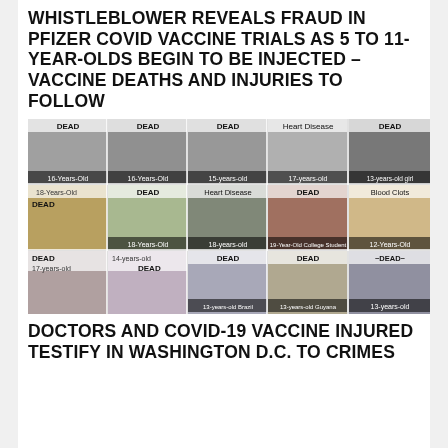WHISTLEBLOWER REVEALS FRAUD IN PFIZER COVID VACCINE TRIALS AS 5 TO 11-YEAR-OLDS BEGIN TO BE INJECTED – VACCINE DEATHS AND INJURIES TO FOLLOW
[Figure (photo): Collage of photos of young people labeled DEAD, Heart Disease, Blood Clots, with ages ranging from 12 to 19 years old]
DOCTORS AND COVID-19 VACCINE INJURED TESTIFY IN WASHINGTON D.C. TO CRIMES